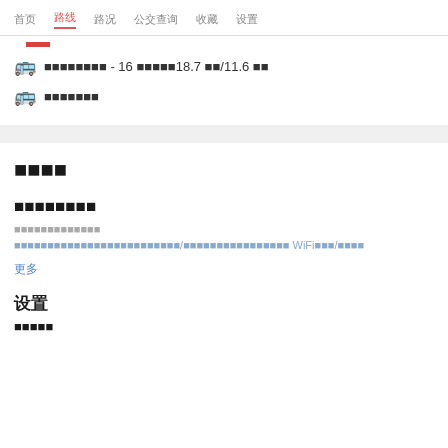首页  路线  路况  公交查询  收藏  设置
[Figure (illustration): Red horizontal bar icon indicating active route]
🚌 到站信息提示 - 16 分钟后到达18.7 千米/11.6 英里
🚌 实时公交信息
路线信息
公交线路选择
公交路线名称及信息
公交路线详情及换乘信息/换乘站信息及时刻表 WiFi服务/更多信息
更多
设置
通知设置